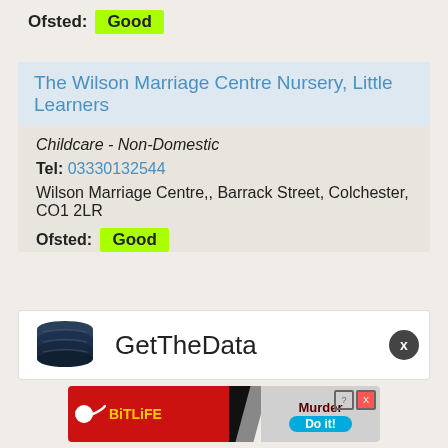Ofsted: Good
The Wilson Marriage Centre Nursery, Little Learners
Childcare - Non-Domestic
Tel: 03330132544
Wilson Marriage Centre,, Barrack Street, Colchester, CO1 2LR
Ofsted: Good
[Figure (logo): GetTheData panel with database stack logo and X close button]
[Figure (screenshot): BitLife advertisement banner - Murder Do it!]